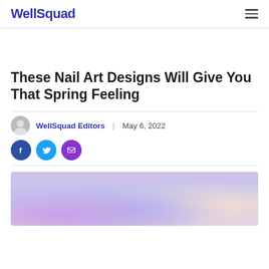WellSquad
These Nail Art Designs Will Give You That Spring Feeling
WellSquad Editors | May 6, 2022
[Figure (photo): Close-up photo of hands with purple/blue iridescent nail art designs, spring nails]